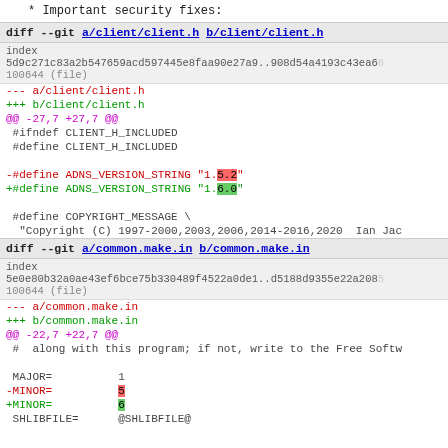* Important security fixes:
diff --git a/client/client.h b/client/client.h
index 5d9c271c83a2b547659acd597445e8faa90e27a9..908d54a4193c43ea66 100644 (file)
--- a/client/client.h
+++ b/client/client.h
@@ -27,7 +27,7 @@
 #ifndef CLIENT_H_INCLUDED
 #define CLIENT_H_INCLUDED

-#define ADNS_VERSION_STRING "1.5.2"
+#define ADNS_VERSION_STRING "1.6.0"

 #define COPYRIGHT_MESSAGE \
   "Copyright (C) 1997-2000,2003,2006,2014-2016,2020  Ian Jac
diff --git a/common.make.in b/common.make.in
index 5e0e80b32a0ae43ef6bce75b330489f4522a0de1..d5188d9355e22a2085 100644 (file)
--- a/common.make.in
+++ b/common.make.in
@@ -22,7 +22,7 @@
 #  along with this program; if not, write to the Free Softw

 MAJOR=          1
-MINOR=          5
+MINOR=          6
 SHLIBFILE=      @SHLIBFILE@